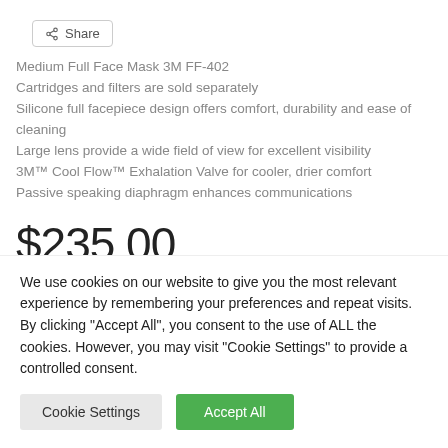[Figure (other): Share button with share icon]
Medium Full Face Mask 3M FF-402
Cartridges and filters are sold separately
Silicone full facepiece design offers comfort, durability and ease of cleaning
Large lens provide a wide field of view for excellent visibility
3M™ Cool Flow™ Exhalation Valve for cooler, drier comfort
Passive speaking diaphragm enhances communications
$235.00
We use cookies on our website to give you the most relevant experience by remembering your preferences and repeat visits. By clicking "Accept All", you consent to the use of ALL the cookies. However, you may visit "Cookie Settings" to provide a controlled consent.